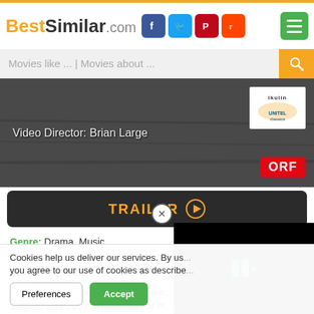[Figure (screenshot): BestSimilar.com website header with logo, social media icons (Facebook, Twitter, Pinterest, Reddit), and green menu button]
Movies like ... | Movies about ...
[Figure (photo): Movie thumbnail image showing a dark scene with text 'Video Director: Brian Large', ORF badge, and Unitel Classica badge]
TRAILER ▶
Genre: Drama, Music
Country: Austria, Germany
Duration: 210 min.
+ Watchlist
Story: The Wiener Philharmonike... stages. this 2007 production of P...
Cookies help us deliver our services. By us... you agree to our use of cookies as describe...